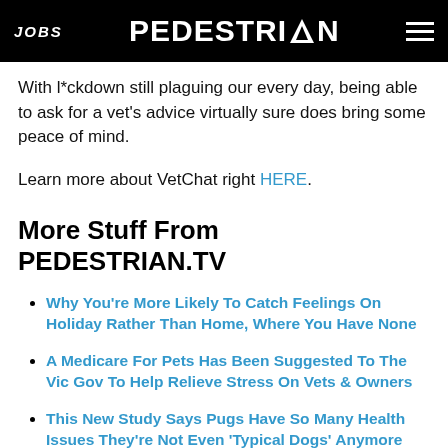JOBS  PEDESTRIAN  [menu]
With l*ckdown still plaguing our every day, being able to ask for a vet's advice virtually sure does bring some peace of mind.
Learn more about VetChat right HERE.
More Stuff From PEDESTRIAN.TV
Why You're More Likely To Catch Feelings On Holiday Rather Than Home, Where You Have None
A Medicare For Pets Has Been Suggested To The Vic Gov To Help Relieve Stress On Vets & Owners
This New Study Says Pugs Have So Many Health Issues They're Not Even 'Typical Dogs' Anymore